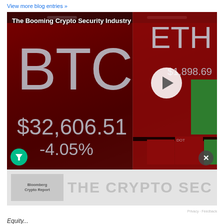View more blog entries »
[Figure (photo): Video thumbnail showing a red cryptocurrency ticker display with BTC at $32,606.51 (-4.05%) and ETH at $1,898.69, with a play button overlay. Title overlay reads 'The Booming Crypto Security Industry']
THE CRYPTO SECURIT
Equity...